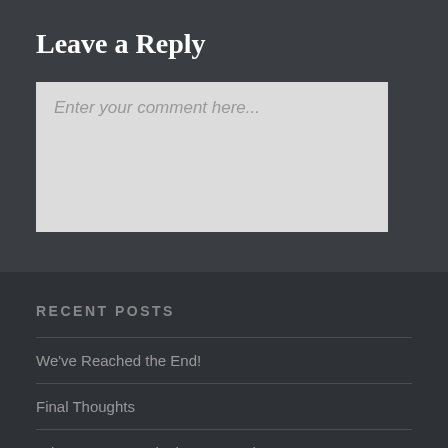Leave a Reply
Enter your comment here...
RECENT POSTS
We've Reached the End!
Final Thoughts
Adventure 12: Wait, that's my train!